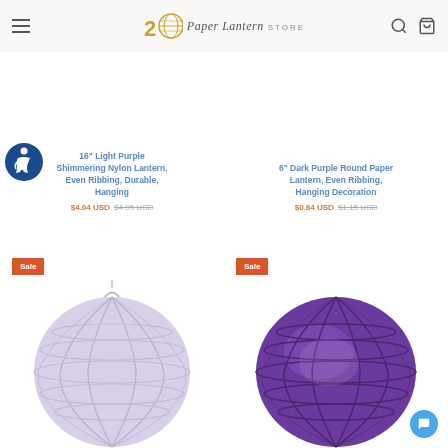20 Paper Lantern Store
16" Light Purple Shimmering Nylon Lantern, Even Ribbing, Durable, Hanging
$4.04 USD $4.95 USD
6" Dark Purple Round Paper Lantern, Even Ribbing, Hanging Decoration
$0.84 USD $1.15 USD
[Figure (photo): Light lavender/purple paper lantern with even ribbing, Sale badge]
[Figure (photo): Dark purple round paper lantern with even ribbing, Sale badge]